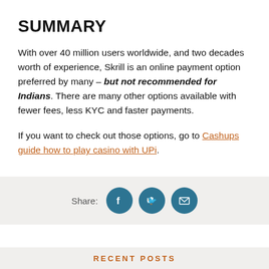SUMMARY
With over 40 million users worldwide, and two decades worth of experience, Skrill is an online payment option preferred by many – but not recommended for Indians. There are many other options available with fewer fees, less KYC and faster payments.
If you want to check out those options, go to Cashups guide how to play casino with UPi.
[Figure (infographic): Share bar with Facebook, Twitter, and Email social sharing icons on a light grey background]
RECENT POSTS